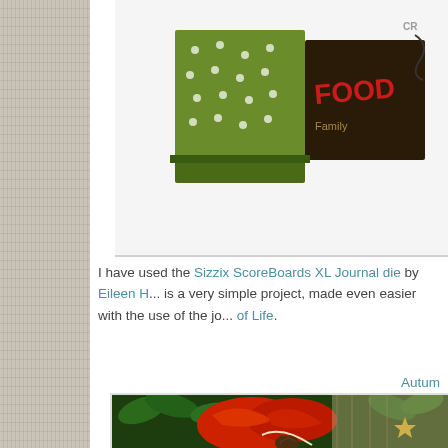[Figure (photo): Christmas gift box wrapped in green polka dot paper and dark decorative paper with red text reading 'FOOD', photographed against a white background. Partial logo visible in upper right corner.]
I have used the Sizzix ScoreBoards XL Journal die by Eileen H... is a very simple project, made even easier with the use of the jo... of Life.
Autum...
[Figure (photo): Close-up photo of red burlap/fabric bow with white twine, pine cone accents, and a star ornament, surrounded by green holly leaves with white berry sprigs. On top of a plaid patterned background.]